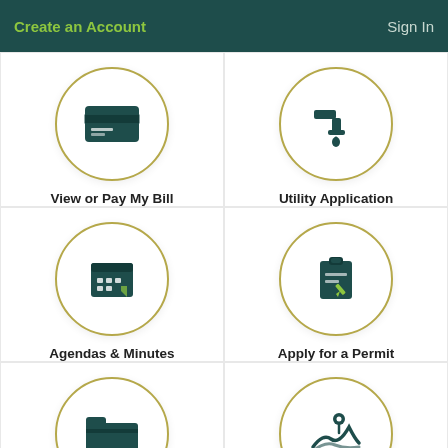Create an Account   Sign In
[Figure (illustration): Credit card icon inside a circle with olive border]
View or Pay My Bill
[Figure (illustration): Water tap/faucet icon inside a circle with olive border]
Utility Application
[Figure (illustration): Calendar/grid icon inside a circle with olive border]
Agendas & Minutes
[Figure (illustration): Clipboard with pencil icon inside a circle with olive border]
Apply for a Permit
[Figure (illustration): Open folder icon inside a circle with olive border]
Public Records Request
[Figure (illustration): Map with location pin icon inside a circle with olive border]
Town Council Legislative